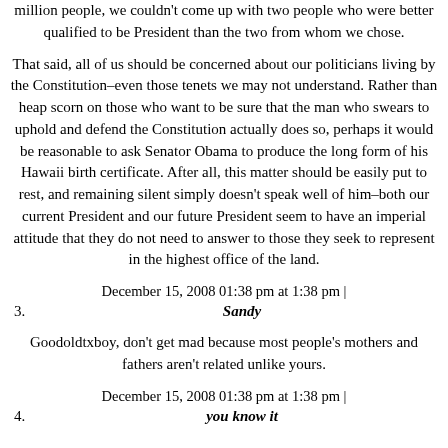million people, we couldn't come up with two people who were better qualified to be President than the two from whom we chose.
That said, all of us should be concerned about our politicians living by the Constitution–even those tenets we may not understand. Rather than heap scorn on those who want to be sure that the man who swears to uphold and defend the Constitution actually does so, perhaps it would be reasonable to ask Senator Obama to produce the long form of his Hawaii birth certificate. After all, this matter should be easily put to rest, and remaining silent simply doesn't speak well of him–both our current President and our future President seem to have an imperial attitude that they do not need to answer to those they seek to represent in the highest office of the land.
December 15, 2008 01:38 pm at 1:38 pm |
3. Sandy
Goodoldtxboy, don't get mad because most people's mothers and fathers aren't related unlike yours.
December 15, 2008 01:38 pm at 1:38 pm |
4. you know it